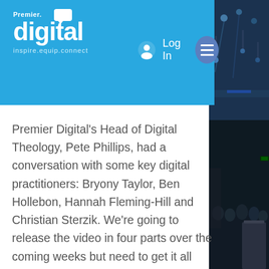Premier. digital inspire.equip.connect | Log In
Premier Digital's Head of Digital Theology, Pete Phillips, had a conversation with some key digital practitioners: Bryony Taylor, Ben Hollebon, Hannah Fleming-Hill and Christian Sterzik. We're going to release the video in four parts over the coming weeks but need to get it all processed and captioned before we release part one.
We'd love to see your reactions to the videos but also to the core question itself: Has the Church fallen out of love
[Figure (photo): Dark concert/church hall photo on the right side showing stage lighting, hanging lights, audience and a podium.]